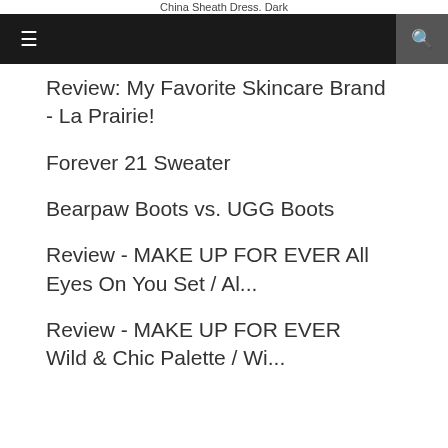China Sheath Dress. Dark
Review: My Favorite Skincare Brand - La Prairie!
Forever 21 Sweater
Bearpaw Boots vs. UGG Boots
Review - MAKE UP FOR EVER All Eyes On You Set / Al...
Review - MAKE UP FOR EVER Wild & Chic Palette / Wi...